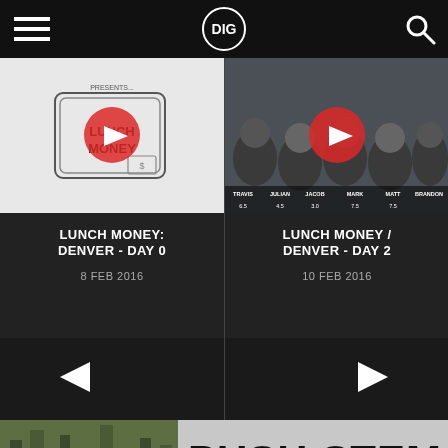DIG
[Figure (screenshot): Lunch Money Denver Day 0 thumbnail - sketch style with lunch box and play button]
LUNCH MONEY: DENVER - DAY 0
8 FEB 2016
[Figure (screenshot): Lunch Money Denver Day 2 thumbnail - group of riders on couch with name scores overlay]
LUNCH MONEY / DENVER - DAY 2
10 FEB 2016
[Figure (screenshot): Left arrow navigation button]
[Figure (screenshot): Right arrow navigation button]
[Figure (photo): Mark Mulville's - BMX rider in forest with yellow stem product overlay]
[Figure (photo): Profile Racing Push Stem advertisement - blue and red stems on grey background]